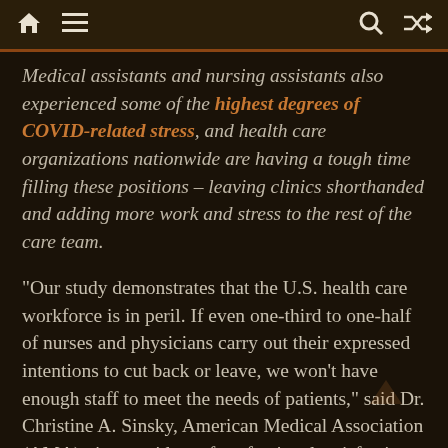Navigation bar with home, menu, search, and shuffle icons
Medical assistants and nursing assistants also experienced some of the highest degrees of COVID-related stress, and health care organizations nationwide are having a tough time filling these positions – leaving clinics shorthanded and adding more work and stress to the rest of the care team.
“Our study demonstrates that the U.S. health care workforce is in peril. If even one-third to one-half of nurses and physicians carry out their expressed intentions to cut back or leave, we won’t have enough staff to meet the needs of patients,” said Dr. Christine A. Sinsky, American Medical Association (AMA) vice president of professional satisfaction.
“To maintain access for patients and to prevent the